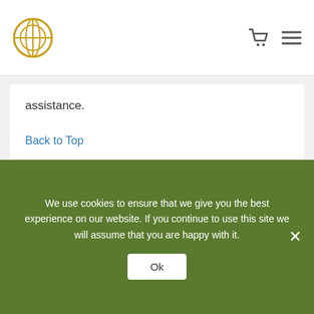TMCI logo, cart icon, menu icon
assistance.
Back to Top
How will I know when new content is added to the site?
You can receive email notifications from TMCI on new courses and site updates.
We use cookies to ensure that we give you the best experience on our website. If you continue to use this site we will assume that you are happy with it.